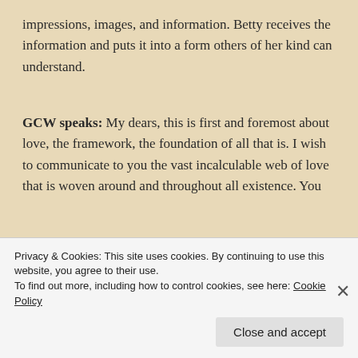impressions, images, and information. Betty receives the information and puts it into a form others of her kind can understand.
GCW speaks: My dears, this is first and foremost about love, the framework, the foundation of all that is. I wish to communicate to you the vast incalculable web of love that is woven around and throughout all existence. You
Privacy & Cookies: This site uses cookies. By continuing to use this website, you agree to their use.
To find out more, including how to control cookies, see here: Cookie Policy
Close and accept